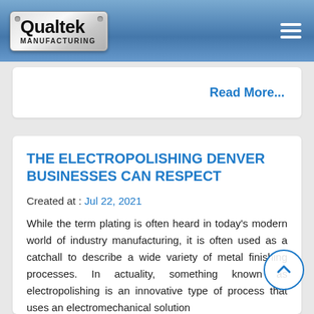[Figure (logo): Qualtek Manufacturing logo on metallic plaque with navigation header bar in blue gradient and hamburger menu icon]
Read More...
THE ELECTROPOLISHING DENVER BUSINESSES CAN RESPECT
Created at : Jul 22, 2021
While the term plating is often heard in today's modern world of industry manufacturing, it is often used as a catchall to describe a wide variety of metal finishing processes. In actuality, something known as electropolishing is an innovative type of process that uses an electromechanical solution